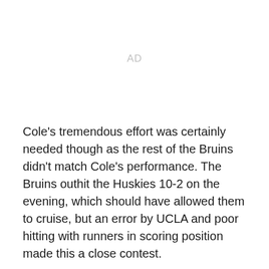AD
Cole's tremendous effort was certainly needed though as the rest of the Bruins didn't match Cole's performance. The Bruins outhit the Huskies 10-2 on the evening, which should have allowed them to cruise, but an error by UCLA and poor hitting with runners in scoring position made this a close contest.
The Bruins got out to a 1-0 lead in the second inning